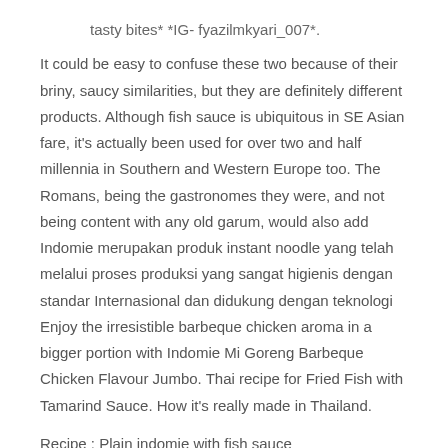tasty bites* *IG- fyazilmkyari_007*.
It could be easy to confuse these two because of their briny, saucy similarities, but they are definitely different products. Although fish sauce is ubiquitous in SE Asian fare, it's actually been used for over two and half millennia in Southern and Western Europe too. The Romans, being the gastronomes they were, and not being content with any old garum, would also add Indomie merupakan produk instant noodle yang telah melalui proses produksi yang sangat higienis dengan standar Internasional dan didukung dengan teknologi Enjoy the irresistible barbeque chicken aroma in a bigger portion with Indomie Mi Goreng Barbeque Chicken Flavour Jumbo. Thai recipe for Fried Fish with Tamarind Sauce. How it's really made in Thailand.
Recipe : Plain indomie with fish sauce
Being a healthy eater requires one to eventually become both